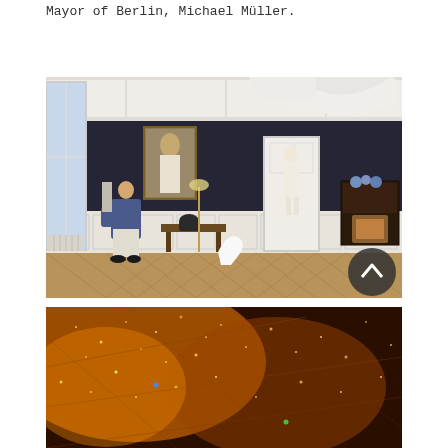Mayor of Berlin, Michael Müller.
[Figure (photo): Interior room with dark navy walls, white wainscoting, herringbone parquet floor. A person sits in a chair on the left. A painting hangs on the dark wall. Large white pendant lamps hang from the ceiling. Another person stands in a doorway on the right. A wooden cabinet with blue hydrangeas on the right wall. A circular scroll-to-top button overlays the bottom-right corner of the image.]
[Figure (photo): Close-up of a glittery, sparkly floor surface in warm orange-brown tones with some grid lines visible. Small colored dots (blue, green) are scattered on the surface.]